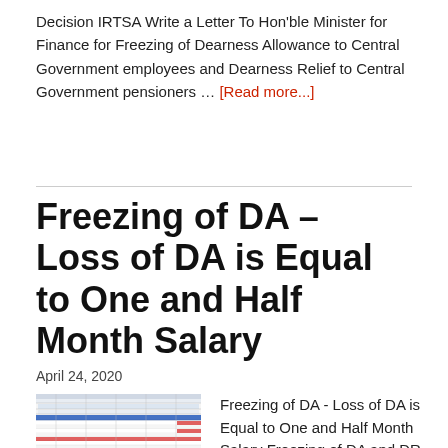Decision IRTSA Write a Letter To Hon'ble Minister for Finance for Freezing of Dearness Allowance to Central Government employees and Dearness Relief to Central Government pensioners … [Read more...]
Freezing of DA – Loss of DA is Equal to One and Half Month Salary
April 24, 2020
[Figure (table-as-image): Small thumbnail image of a table showing DA freezing data with blue and red highlighted rows]
Freezing of DA - Loss of DA is Equal to One and Half Month Salary Freezing of DA and DR